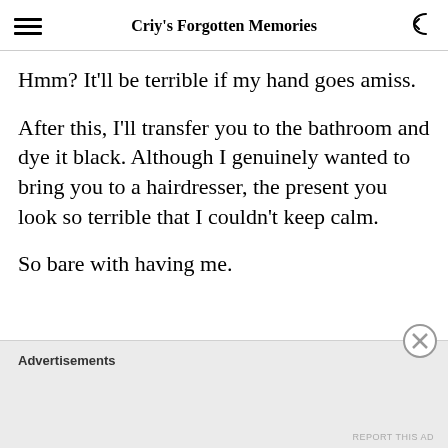Criy's Forgotten Memories
Hmm? It'll be terrible if my hand goes amiss.
After this, I'll transfer you to the bathroom and dye it black. Although I genuinely wanted to bring you to a hairdresser, the present you look so terrible that I couldn't keep calm.
So bare with having me.
Advertisements